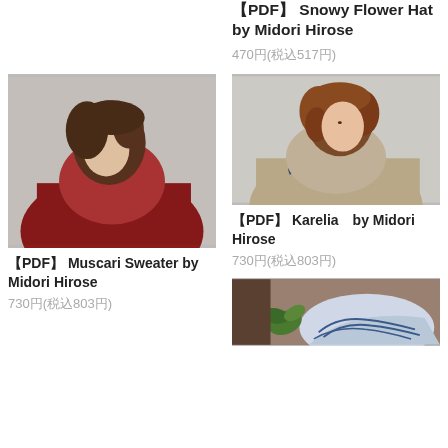【PDF】 Snowy Flower Hat by Midori Hirose
470円(税込517円)
[Figure (photo): Woman in red knit sweater looking down, profile view against grey background]
【PDF】 Muscari Sweater by Midori Hirose
730円(税込803円)
[Figure (photo): Woman with curly red hair wearing beige knit top with floral embroidery, profile view against grey background]
【PDF】 Karelia　by Midori Hirose
730円(税込803円)
[Figure (photo): Blue and white knitted item with plant decoration on wooden surface]